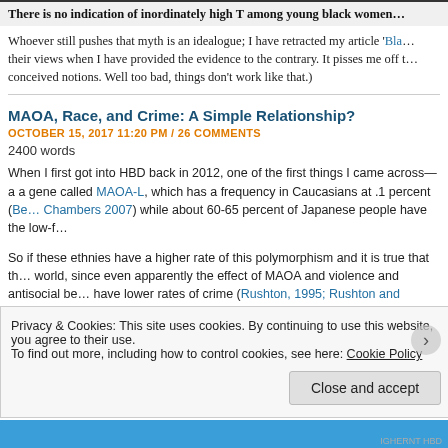There is no indication of inordinately high T among young black women
Whoever still pushes that myth is an idealogue; I have retracted my article 'Bla... their views when I have provided the evidence to the contrary. It pisses me off t... conceived notions. Well too bad, things don't work like that.)
MAOA, Race, and Crime: A Simple Relationship?
OCTOBER 15, 2017 11:20 PM / 26 COMMENTS
2400 words
When I first got into HBD back in 2012, one of the first things I came across—a a gene called MAOA-L, which has a frequency in Caucasians at .1 percent (Be... Chambers 2007) while about 60-65 percent of Japanese people have the low-f...
So if these ethnies have a higher rate of this polymorphism and it is true that th... world, since even apparently the effect of MAOA and violence and antisocial be... have lower rates of crime (Rushton, 1995; Rushton and Whytney, 2002). Thou...
Privacy & Cookies: This site uses cookies. By continuing to use this website, you agree to their use.
To find out more, including how to control cookies, see here: Cookie Policy
Close and accept